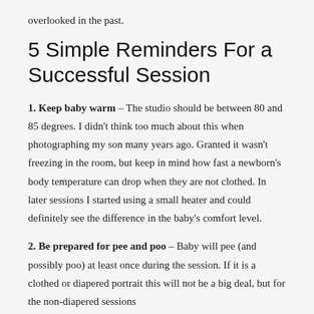overlooked in the past.
5 Simple Reminders For a Successful Session
1. Keep baby warm – The studio should be between 80 and 85 degrees.  I didn't think too much about this when photographing my son many years ago.  Granted it wasn't freezing in the room, but keep in mind how fast a newborn's body temperature can drop when they are not clothed. In later sessions I started using a small heater and could definitely see the difference in the baby's comfort level.
2. Be prepared for pee and poo – Baby will pee (and possibly poo) at least once during the session. If it is a clothed or diapered portrait this will not be a big deal, but for the non-diapered sessions...